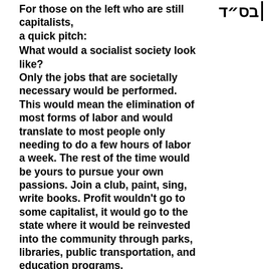For those on the left who are still capitalists, a quick pitch:
[Figure (other): Hebrew text 'בס"ד' with a vertical bar on the right side, positioned in the top-right corner]
What would a socialist society look like?
Only the jobs that are societally necessary would be performed. This would mean the elimination of most forms of labor and would translate to most people only needing to do a few hours of labor a week. The rest of the time would be yours to pursue your own passions. Join a club, paint, sing, write books. Profit wouldn't go to some capitalist, it would go to the state where it would be reinvested into the community through parks, libraries, public transportation, and education programs.
Why should I not want to remain a capitalist?
Capitalism is, by its very nature, unsustainable. It demands infinite growth in a finite world. We can either be forced to change economic systems when resources run out or be proactive and do it before this happens.
Capitalism is incompatible with democracy. You can